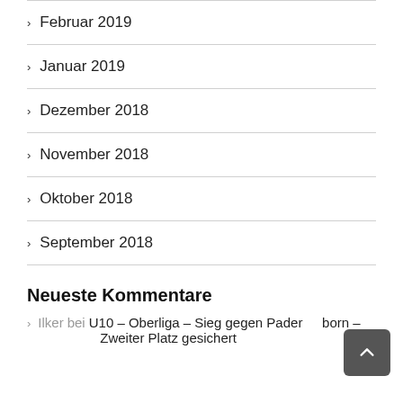Februar 2019
Januar 2019
Dezember 2018
November 2018
Oktober 2018
September 2018
Neueste Kommentare
Ilker bei U10 – Oberliga – Sieg gegen Paderborn – Zweiter Platz gesichert